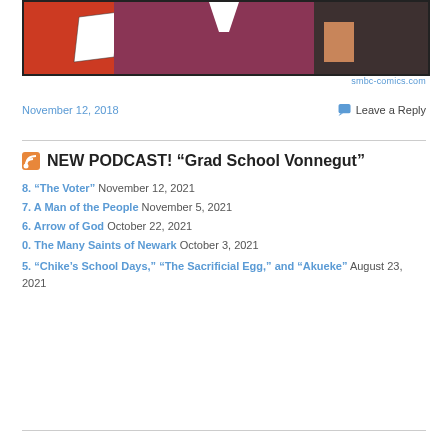[Figure (illustration): Bottom portion of an SMBC webcomic strip showing cartoon characters — a person in red on the left, a person in dark purple/maroon in the center, and a person in dark clothing on the right, with a yellow background.]
smbc-comics.com
November 12, 2018
💬 Leave a Reply
NEW PODCAST! “Grad School Vonnegut”
8. “The Voter” November 12, 2021
7. A Man of the People November 5, 2021
6. Arrow of God October 22, 2021
0. The Many Saints of Newark October 3, 2021
5. “Chike’s School Days,” “The Sacrificial Egg,” and “Akueke” August 23, 2021